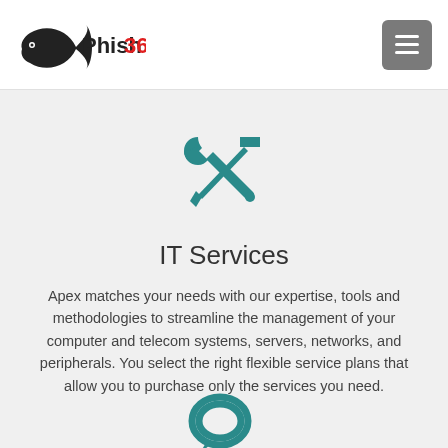Phish360 [logo] [hamburger menu]
[Figure (illustration): Crossed wrench and screwdriver tools icon in teal color]
IT Services
Apex matches your needs with our expertise, tools and methodologies to streamline the management of your computer and telecom systems, servers, networks, and peripherals. You select the right flexible service plans that allow you to purchase only the services you need.
[Figure (illustration): Chat bubble / speech balloon icon in teal color, partially visible at bottom]